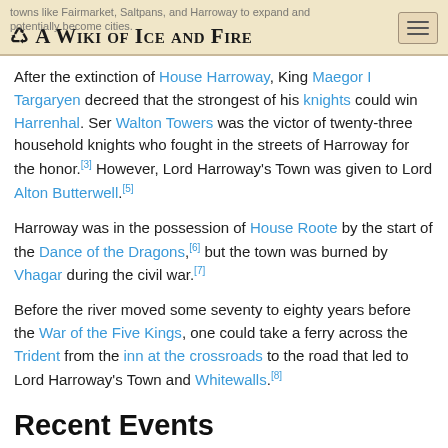A Wiki of Ice and Fire
After the extinction of House Harroway, King Maegor I Targaryen decreed that the strongest of his knights could win Harrenhal. Ser Walton Towers was the victor of twenty-three household knights who fought in the streets of Harroway for the honor.[3] However, Lord Harroway's Town was given to Lord Alton Butterwell.[5]
Harroway was in the possession of House Roote by the start of the Dance of the Dragons,[6] but the town was burned by Vhagar during the civil war.[7]
Before the river moved some seventy to eighty years before the War of the Five Kings, one could take a ferry across the Trident from the inn at the crossroads to the road that led to Lord Harroway's Town and Whitewalls.[8]
Recent Events
A Storm of Swords
Arya Stark and Sandor Clegane find Lord Harroway's Town flooded